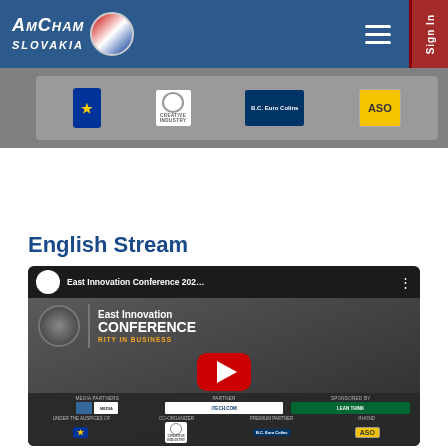[Figure (logo): AmCham Slovakia logo with navigation bar including hamburger menu and Sign In button]
[Figure (infographic): Sponsor strip showing EU logo, Creative Industry logo, B.C. Euro Colins logo, and ASO logo on gray background]
English Stream
[Figure (screenshot): YouTube video thumbnail for East Innovation Conference 2020 showing conference branding with play button, sponsor logos including Creative Industry, ASO, media partners, co-organizer, premium partner, and sponsored by sections]